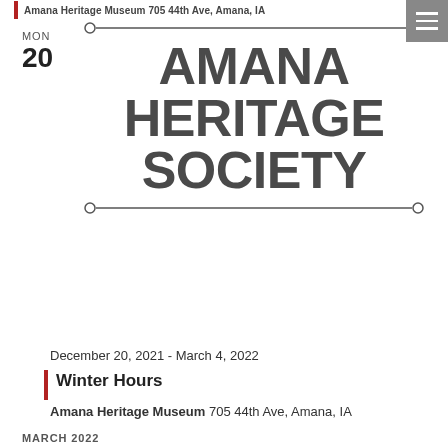Amana Heritage Museum 705 44th Ave, Amana, IA
MON
20
[Figure (logo): Amana Heritage Society logo with decorative horizontal rules above and below. Bold uppercase text reading AMANA HERITAGE SOCIETY in dark gray.]
December 20, 2021 - March 4, 2022
Winter Hours
Amana Heritage Museum 705 44th Ave, Amana, IA
MARCH 2022